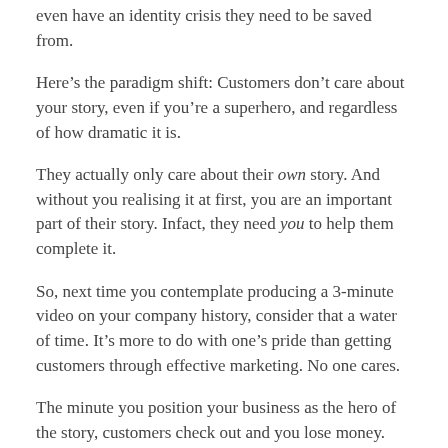even have an identity crisis they need to be saved from.
Here’s the paradigm shift: Customers don’t care about your story, even if you’re a superhero, and regardless of how dramatic it is.
They actually only care about their own story. And without you realising it at first, you are an important part of their story. Infact, they need you to help them complete it.
So, next time you contemplate producing a 3-minute video on your company history, consider that a water of time. It’s more to do with one’s pride than getting customers through effective marketing. No one cares.
The minute you position your business as the hero of the story, customers check out and you lose money.